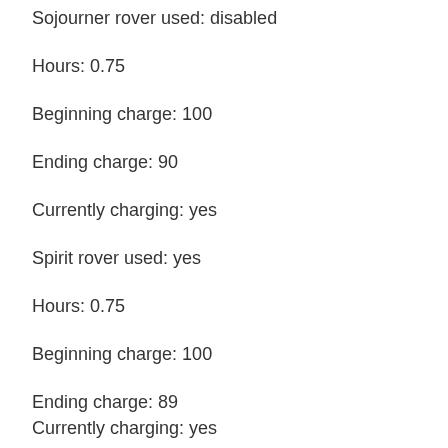Sojourner rover used: disabled
Hours: 0.75
Beginning charge: 100
Ending charge: 90
Currently charging: yes
Spirit rover used: yes
Hours: 0.75
Beginning charge: 100
Ending charge: 89
Currently charging: yes